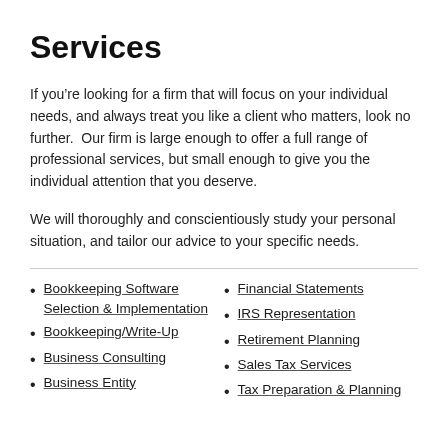Services
If you're looking for a firm that will focus on your individual needs, and always treat you like a client who matters, look no further.  Our firm is large enough to offer a full range of professional services, but small enough to give you the individual attention that you deserve.
We will thoroughly and conscientiously study your personal situation, and tailor our advice to your specific needs.
Bookkeeping Software Selection & Implementation
Bookkeeping/Write-Up
Business Consulting
Business Entity
Financial Statements
IRS Representation
Retirement Planning
Sales Tax Services
Tax Preparation & Planning